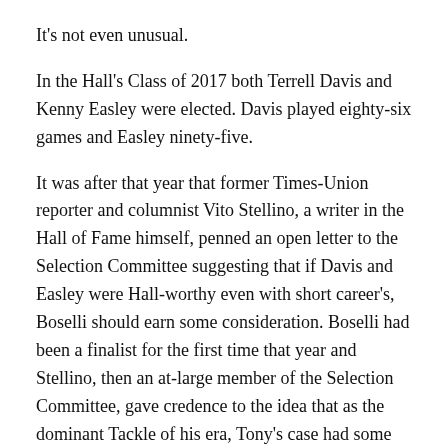It's not even unusual.
In the Hall's Class of 2017 both Terrell Davis and Kenny Easley were elected. Davis played eighty-six games and Easley ninety-five.
It was after that year that former Times-Union reporter and columnist Vito Stellino, a writer in the Hall of Fame himself, penned an open letter to the Selection Committee suggesting that if Davis and Easley were Hall-worthy even with short career's, Boselli should earn some consideration. Boselli had been a finalist for the first time that year and Stellino, then an at-large member of the Selection Committee, gave credence to the idea that as the dominant Tackle of his era, Tony's case had some merit.
Besides the length of his career, other numbers were working against Boselli's case. In 2018, five of the fifteen finalists, one-third of the total, were offensive